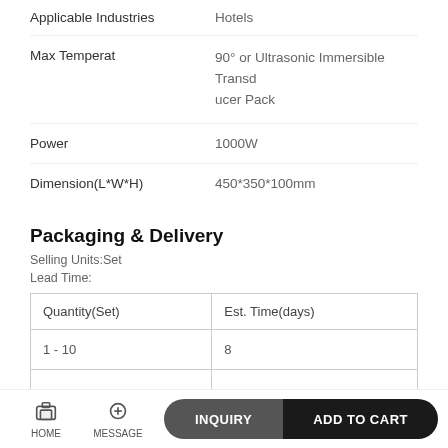| Applicable Industries | Hotels |
| --- | --- |
Max Temperat: 90° or Ultrasonic Immersible Transducer Pack
Power: 1000W
Dimension(L*W*H): 450*350*100mm
Packaging & Delivery
Selling Units:Set
Lead Time:
| Quantity(Set) | Est. Time(days) |
| --- | --- |
| 1 - 10 | 8 |